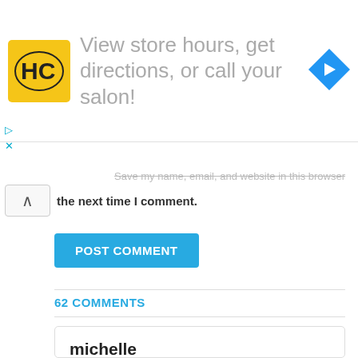[Figure (infographic): Ad banner: HC logo (yellow square with black HC letters), text 'View store hours, get directions, or call your salon!', blue diamond navigation arrow icon]
Save my name, email, and website in this browser for the next time I comment.
POST COMMENT
62 COMMENTS
michelle
25 February, 2019 at 12:40 am
ok so what is the hard disk password ?
REPLY
agbatin achimo